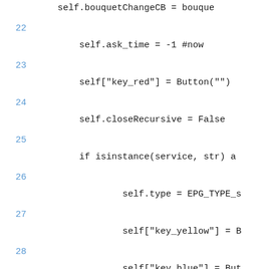self.bouquetChangeCB = bouque
22
    self.ask_time = -1 #now
23
    self["key_red"] = Button("")
24
    self.closeRecursive = False
25
    if isinstance(service, str) a
26
            self.type = EPG_TYPE_s
27
            self["key_yellow"] = B
28
            self["key_blue"] = But
29
            self["key_red"] = Butt
30
            self.currentService=s
31